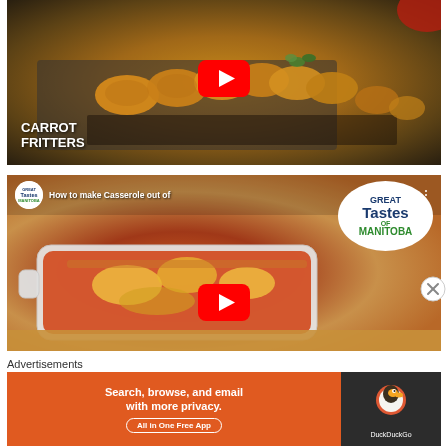[Figure (screenshot): YouTube video thumbnail for Carrot Fritters recipe — shows golden fried fritters on a dark slate board with herbs, YouTube play button in center, text 'CARROT FRITTERS' in white at bottom left]
[Figure (screenshot): YouTube video thumbnail for 'How to make Casserole out of Great Tastes of Manitoba' — shows a cheesy baked casserole dish with tomato sauce, YouTube play button, Great Tastes of Manitoba logo badge in top right, channel icon and title in top left]
Advertisements
[Figure (infographic): DuckDuckGo advertisement banner — orange left side with text 'Search, browse, and email with more privacy. All in One Free App', dark right side with DuckDuckGo duck logo]